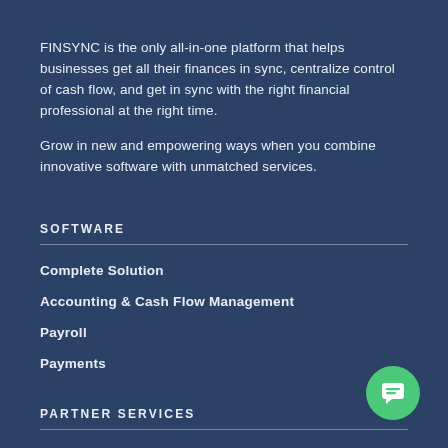FINSYNC is the only all-in-one platform that helps businesses get all their finances in sync, centralize control of cash flow, and get in sync with the right financial professional at the right time.
Grow in new and empowering ways when you combine innovative software with unmatched services.
SOFTWARE
Complete Solution
Accounting & Cash Flow Management
Payroll
Payments
PARTNER SERVICES
[Figure (illustration): Green circular chat button with speech bubble icon in bottom-right corner]